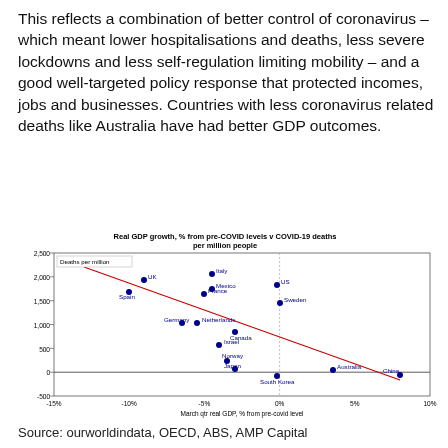This reflects a combination of better control of coronavirus – which meant lower hospitalisations and deaths, less severe lockdowns and less self-regulation limiting mobility – and a good well-targeted policy response that protected incomes, jobs and businesses. Countries with less coronavirus related deaths like Australia have had better GDP outcomes.
[Figure (scatter-plot): Real GDP growth, % from pre-COVID levels v COVID-19 deaths per million people]
Source: ourworldindata, OECD, ABS, AMP Capital